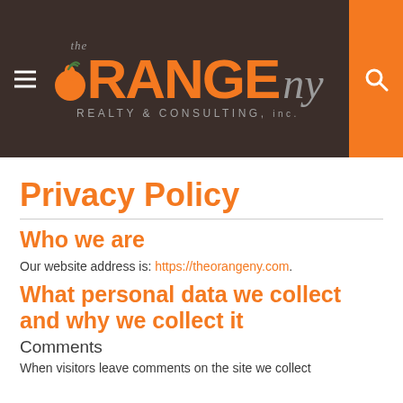[Figure (logo): The Orange NY Realty & Consulting, Inc. logo on dark brown background with orange search button on right and hamburger menu on left]
Privacy Policy
Who we are
Our website address is: https://theorangeny.com.
What personal data we collect and why we collect it
Comments
When visitors leave comments on the site we collect